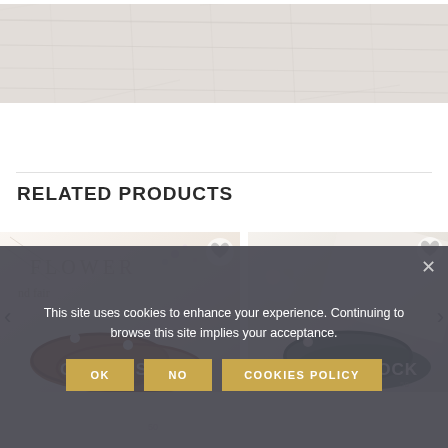[Figure (photo): Close-up of white/light grey fabric or textile texture filling the top portion of the page]
RELATED PRODUCTS
[Figure (photo): Product image of brown braided bracelets on a pinkish floral background with heart wishlist icon. Shows OUT OF STOCK overlay.]
[Figure (photo): Product image of dark green braided bracelet on white background with baby's breath flowers and heart wishlist icon. Shows OUT OF STOCK overlay.]
OUT OF STOCK
OUT OF STOCK
This site uses cookies to enhance your experience. Continuing to browse this site implies your acceptance.
OK
NO
COOKIES POLICY